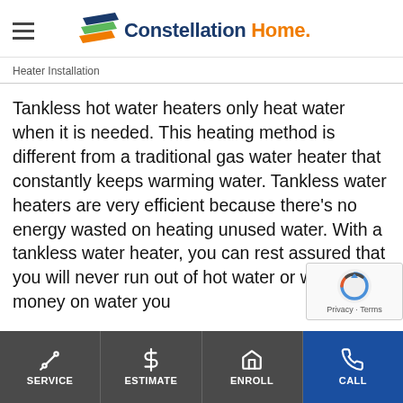[Figure (logo): Constellation Home logo with hamburger menu icon on the left and the Constellation Home wordmark with flag-style chevron graphic]
Heater Installation
Tankless hot water heaters only heat water when it is needed. This heating method is different from a traditional gas water heater that constantly keeps warming water. Tankless water heaters are very efficient because there’s no energy wasted on heating unused water. With a tankless water heater, you can rest assured that you will never run out of hot water or waste money on water you
SERVICE | ESTIMATE | ENROLL | CALL